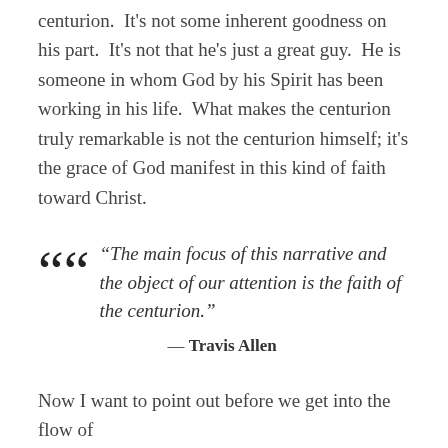centurion.  It's not some inherent goodness on his part.  It's not that he's just a great guy.  He is someone in whom God by his Spirit has been working in his life.  What makes the centurion truly remarkable is not the centurion himself; it's the grace of God manifest in this kind of faith toward Christ.
“The main focus of this narrative and the object of our attention is the faith of the centurion.” — Travis Allen
Now I want to point out before we get into the flow of